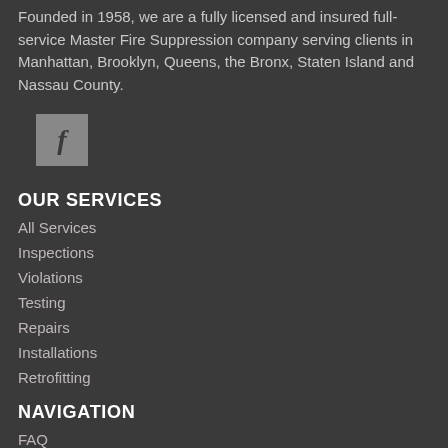Founded in 1958, we are a fully licensed and insured full-service Master Fire Suppression company serving clients in Manhattan, Brooklyn, Queens, the Bronx, Staten Island and Nassau County.
[Figure (logo): ]
OUR SERVICES
All Services
Inspections
Violations
Testing
Repairs
Installations
Retrofitting
NAVIGATION
FAQ